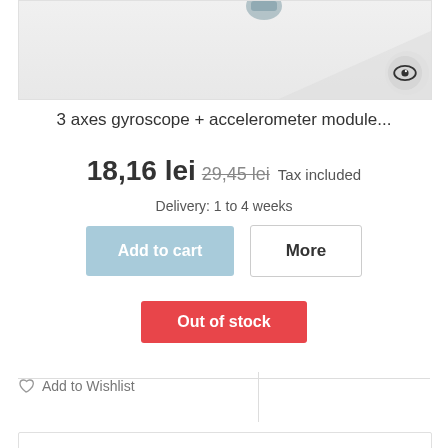[Figure (photo): Partial product photo of a gyroscope/accelerometer module on light gray background with an eye icon in the bottom right corner]
3 axes gyroscope + accelerometer module...
18,16 lei 29,45 lei Tax included
Delivery: 1 to 4 weeks
Add to cart
More
Out of stock
Add to Wishlist